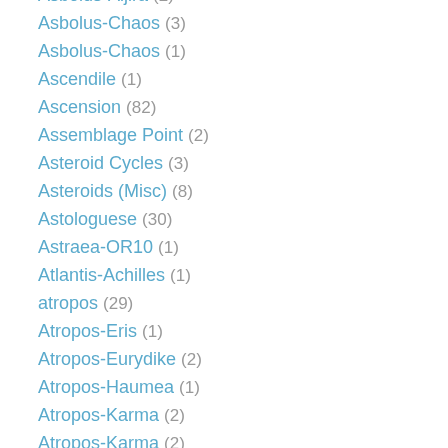Asbolus-Aijira (2)
Asbolus-Chaos (3)
Asbolus-Chaos (1)
Ascendile (1)
Ascension (82)
Assemblage Point (2)
Asteroid Cycles (3)
Asteroids (Misc) (8)
Astologuese (30)
Astraea-OR10 (1)
Atlantis-Achilles (1)
atropos (29)
Atropos-Eris (1)
Atropos-Eurydike (2)
Atropos-Haumea (1)
Atropos-Karma (2)
Atropos-Karma (2)
Atropos-Lilith (1)
Atropos-Moira (1)
Atropos-Nessus (2)